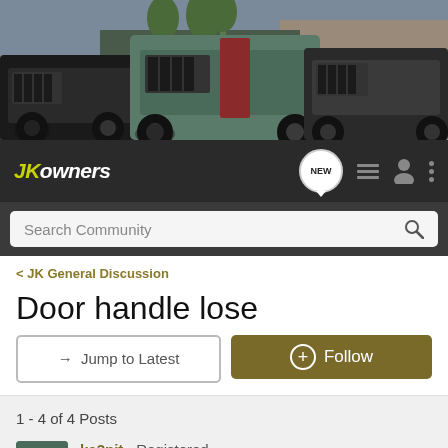[Figure (photo): Banner showing three Jeep Wrangler vehicles on rocky off-road terrain with trees and rocks in background]
JKOwners — navigation bar with NEW, list, profile, and menu icons; Search Community search bar
< JK General Discussion
Door handle lose
→ Jump to Latest
+ Follow
1 - 4 of 4 Posts
ka3pit · Registered Joined Nov 2, 2008 · 537 Posts